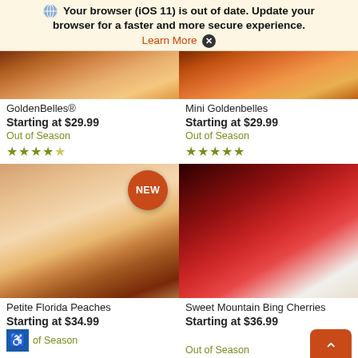Your browser (iOS 11) is out of date. Update your browser for a faster and more secure experience. Learn More ✕
[Figure (photo): Top portion of GoldenBelles product photo showing fruit with oranges]
[Figure (photo): Top portion of Mini Goldenbelles product photo showing fruit with oranges]
GoldenBelles®
Starting at $29.99
Out of Season
★★★★½
Mini Goldenbelles
Starting at $29.99
Out of Season
★★★★★
[Figure (photo): Petite Florida Peaches product photo showing peaches in a basket with NEW badge]
[Figure (photo): Sweet Mountain Bing Cherries product photo showing cherries in a white bowl]
Petite Florida Peaches
Starting at $34.99
of Season
Sweet Mountain Bing Cherries
Starting at $36.99
Out of Season